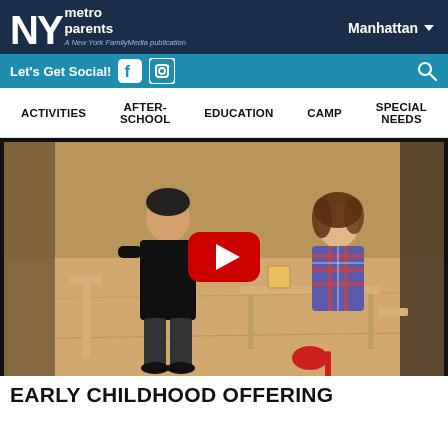NY metro parents — A New York FamilyMedia publication — Manhattan
Let's Get Social!
ACTIVITIES  AFTER-SCHOOL  EDUCATION  CAMP  SPECIAL NEEDS
[Figure (screenshot): Video thumbnail showing two young children playing with wooden blocks and toys at a small table in a classroom setting, with a YouTube play button overlay in the center.]
EARLY CHILDHOOD OFFERING